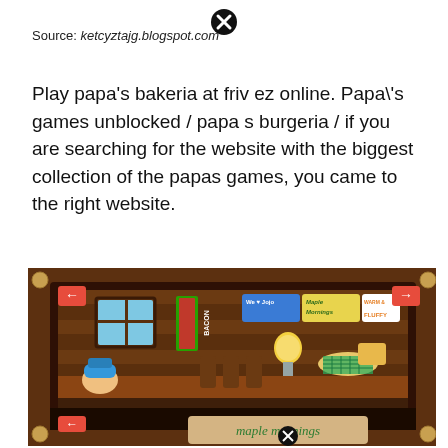[Figure (other): Close/X button circle icon]
Source: ketcyztajg.blogspot.com
Play papa's bakeria at friv ez online. Papa\'s games unblocked / papa s burgeria / if you are searching for the website with the biggest collection of the papas games, you came to the right website.
[Figure (screenshot): Screenshot of Papa's game showing a cabin-style restaurant interior with maple mornings theme, featuring a gumball machine, log stools, waffle table, character with hat, and various food-themed decorations and stickers.]